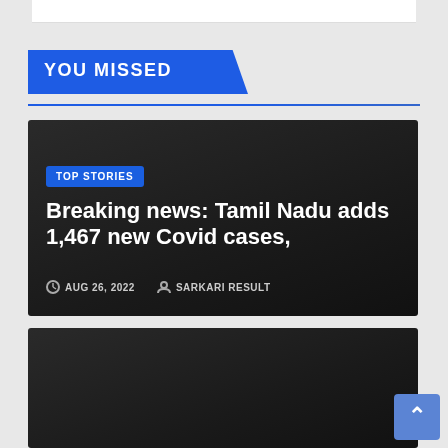YOU MISSED
[Figure (screenshot): Dark article card with TOP STORIES badge and headline 'Breaking news: Tamil Nadu adds 1,467 new Covid cases,' with date AUG 26, 2022 and author SARKARI RESULT]
Breaking news: Tamil Nadu adds 1,467 new Covid cases,
AUG 26, 2022  SARKARI RESULT
[Figure (screenshot): Partial second dark article card at bottom of page]